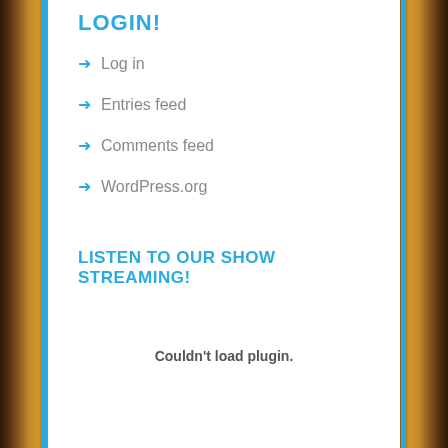LOGIN!
Log in
Entries feed
Comments feed
WordPress.org
LISTEN TO OUR SHOW STREAMING!
Couldn't load plugin.